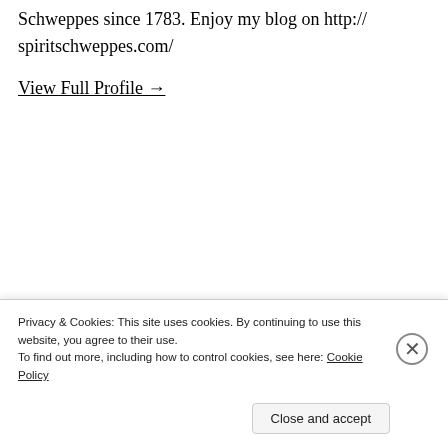Schweppes since 1783. Enjoy my blog on http://spiritschweppes.com/
View Full Profile →
Privacy & Cookies: This site uses cookies. By continuing to use this website, you agree to their use.
To find out more, including how to control cookies, see here: Cookie Policy
Close and accept